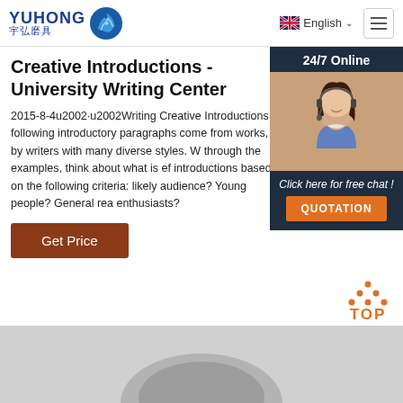YUHONG 宇弘磨具 | English
Creative Introductions - University Writing Center
2015-8-4u2002·u2002Writing Creative Introductions following introductory paragraphs come from works, by writers with many diverse styles. W through the examples, think about what is ef introductions based on the following criteria: likely audience? Young people? General rea enthusiasts?
[Figure (photo): Chat agent woman with headset, overlay panel with 24/7 Online label, Click here for free chat text, and QUOTATION button]
Get Price
[Figure (infographic): TOP back-to-top button with orange dots forming triangle, and a product image placeholder at bottom]